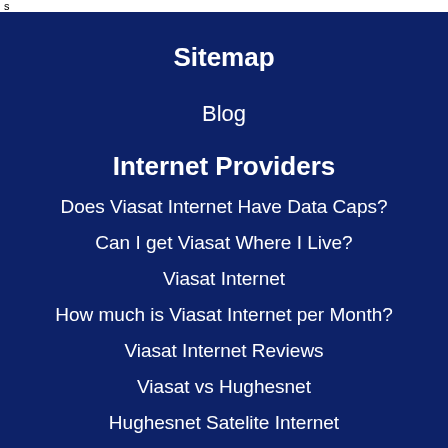s
Sitemap
Blog
Internet Providers
Does Viasat Internet Have Data Caps?
Can I get Viasat Where I Live?
Viasat Internet
How much is Viasat Internet per Month?
Viasat Internet Reviews
Viasat vs Hughesnet
Hughesnet Satelite Internet
Viasat Satellite Internet Reviews 2021